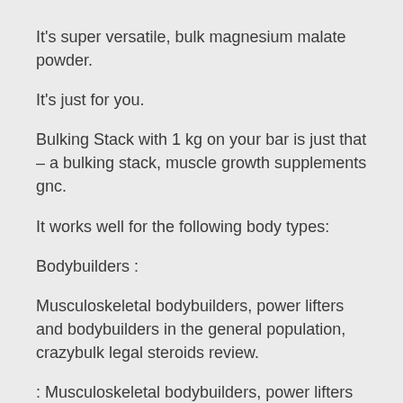It's super versatile, bulk magnesium malate powder.
It's just for you.
Bulking Stack with 1 kg on your bar is just that – a bulking stack, muscle growth supplements gnc.
It works well for the following body types:
Bodybuilders :
Musculoskeletal bodybuilders, power lifters and bodybuilders in the general population, crazybulk legal steroids review.
: Musculoskeletal bodybuilders, power lifters and bodybuilders in the general population. Athletes :